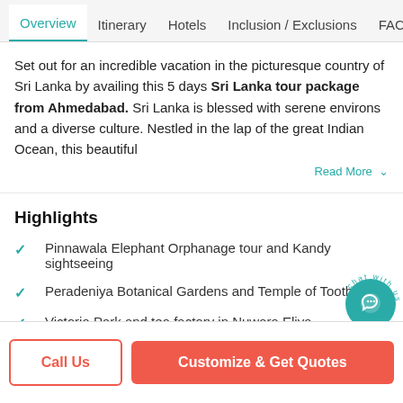Overview | Itinerary | Hotels | Inclusion / Exclusions | FAQ
Set out for an incredible vacation in the picturesque country of Sri Lanka by availing this 5 days Sri Lanka tour package from Ahmedabad. Sri Lanka is blessed with serene environs and a diverse culture. Nestled in the lap of the great Indian Ocean, this beautiful
Read More
Highlights
Pinnawala Elephant Orphanage tour and Kandy sightseeing
Peradeniya Botanical Gardens and Temple of Tooth Relic
Victoria Park and tea factory in Nuwara Eliya
Bentota beach activities and sightseeing tour in Colo...
Call Us | Customize & Get Quotes